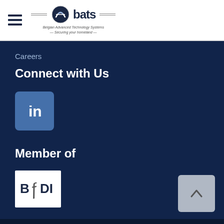[Figure (logo): BATS (Belgian Advanced Technology Systems) logo with hamburger menu icon in page header]
Careers
Connect with Us
[Figure (logo): LinkedIn square logo button (blue rounded square with 'in' icon)]
Member of
[Figure (logo): BSDI logo: white square with stylized 'B/DI' text in dark blue]